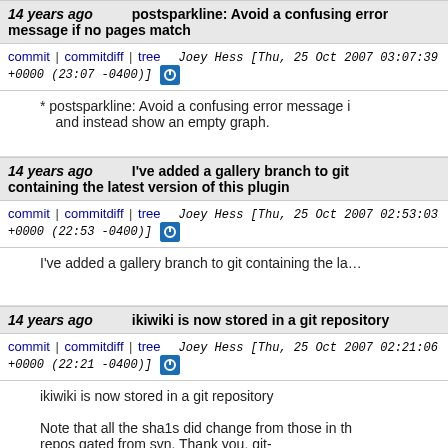14 years ago   postsparkline: Avoid a confusing error message if no pages match
commit | commitdiff | tree   Joey Hess [Thu, 25 Oct 2007 03:07:39 +0000 (23:07 -0400)]
* postsparkline: Avoid a confusing error message if no pages match, and instead show an empty graph.
14 years ago   I've added a gallery branch to git containing the latest version of this plugin
commit | commitdiff | tree   Joey Hess [Thu, 25 Oct 2007 02:53:03 +0000 (22:53 -0400)]
I've added a gallery branch to git containing the la…
14 years ago   ikiwiki is now stored in a git repository
commit | commitdiff | tree   Joey Hess [Thu, 25 Oct 2007 02:21:06 +0000 (22:21 -0400)]
ikiwiki is now stored in a git repository

Note that all the sha1s did change from those in the repos gated from svn. Thank you, git-svnimport, for the pain.